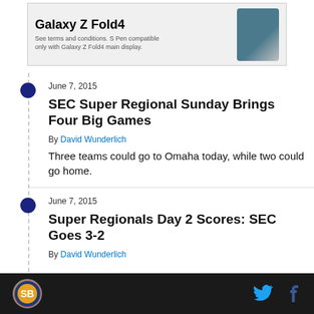[Figure (other): Samsung Galaxy Z Fold4 advertisement banner showing product name, fine print, and device image]
June 7, 2015
SEC Super Regional Sunday Brings Four Big Games
By David Wunderlich
Three teams could go to Omaha today, while two could go home.
June 7, 2015
Super Regionals Day 2 Scores: SEC Goes 3-2
By David Wunderlich
SB Nation logo, Twitter icon, Facebook icon